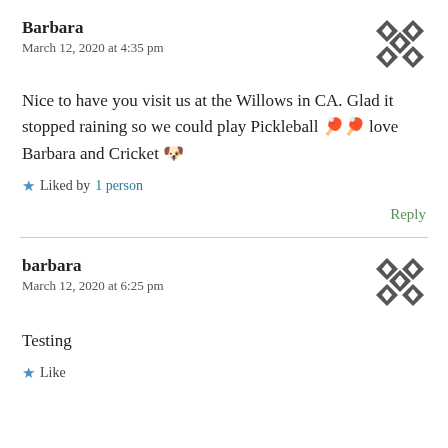Barbara
March 12, 2020 at 4:35 pm
[Figure (illustration): Decorative avatar icon — diamond/quilt pattern in black and white]
Nice to have you visit us at the Willows in CA. Glad it stopped raining so we could play Pickleball 🏓🏓 love Barbara and Cricket 🐶
★ Liked by 1 person
Reply
barbara
March 12, 2020 at 6:25 pm
[Figure (illustration): Decorative avatar icon — diamond/quilt pattern in black and white]
Testing
★ Like